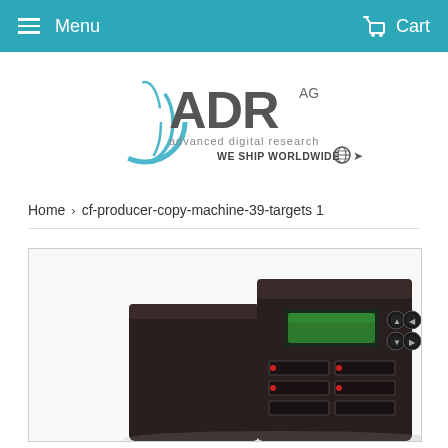Menu   Cart
[Figure (logo): ADR AG advanced digital research logo with WE SHIP WORLDWIDE text and globe icon]
Home  >  cf-producer-copy-machine-39-targets 1
[Figure (photo): A dark-colored CF producer copy machine tower with green LCD display and multiple card slots on the front panel]